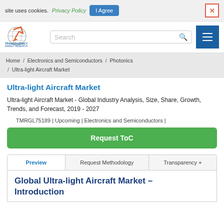site uses cookies. Privacy Policy  I Agree  X
[Figure (logo): Transparency Market Research logo — circular globe graphic with orange arrow, company name below]
Search
Home / Electronics and Semiconductors / Photonics / Ultra-light Aircraft Market
Ultra-light Aircraft Market
Ultra-light Aircraft Market - Global Industry Analysis, Size, Share, Growth, Trends, and Forecast, 2019 - 2027
TMRGL75189 | Upcoming | Electronics and Semiconductors |
Request ToC
Preview   Request Methodology   Transparency +
Global Ultra-light Aircraft Market – Introduction